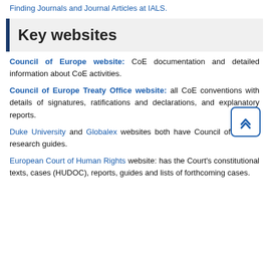Finding Journals and Journal Articles at IALS.
Key websites
Council of Europe website: CoE documentation and detailed information about CoE activities.
Council of Europe Treaty Office website: all CoE conventions with details of signatures, ratifications and declarations, and explanatory reports.
Duke University and Globalex websites both have Council of Europe research guides.
European Court of Human Rights website: has the Court's constitutional texts, cases (HUDOC), reports, guides and lists of forthcoming cases.